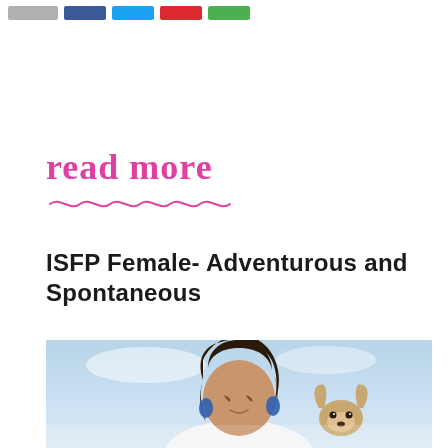[Social share buttons: gray, Facebook blue, Twitter blue, Pinterest red, green]
read more
ISFP Female- Adventurous and Spontaneous
[Figure (photo): Young woman with long dark hair and blue earrings looking down at a small Chihuahua dog, outdoor background with light blue sky]